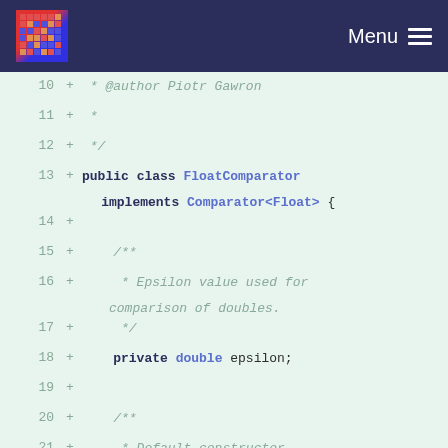Menu
[Figure (screenshot): Code diff view showing Java source file lines 10-27. Green background diff view with line numbers, plus signs indicating added lines, and syntax-highlighted Java code for FloatComparator class.]